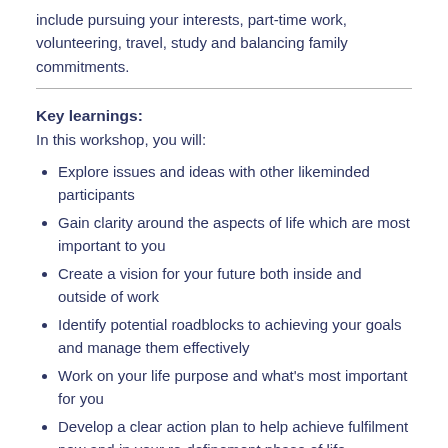include pursuing your interests, part-time work, volunteering, travel, study and balancing family commitments.
Key learnings:
In this workshop, you will:
Explore issues and ideas with other likeminded participants
Gain clarity around the aspects of life which are most important to you
Create a vision for your future both inside and outside of work
Identify potential roadblocks to achieving your goals and manage them effectively
Work on your life purpose and what's most important for you
Develop a clear action plan to help achieve fulfilment now and in your re-definement phase of life